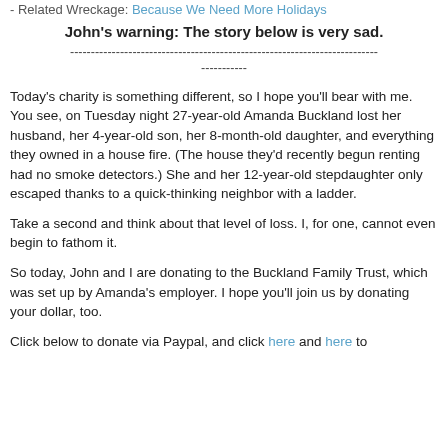- Related Wreckage: Because We Need More Holidays
John's warning: The story below is very sad.
--------------------------------------------------------------------------
-----------
Today's charity is something different, so I hope you'll bear with me. You see, on Tuesday night 27-year-old Amanda Buckland lost her husband, her 4-year-old son, her 8-month-old daughter, and everything they owned in a house fire. (The house they'd recently begun renting had no smoke detectors.) She and her 12-year-old stepdaughter only escaped thanks to a quick-thinking neighbor with a ladder.
Take a second and think about that level of loss. I, for one, cannot even begin to fathom it.
So today, John and I are donating to the Buckland Family Trust, which was set up by Amanda's employer. I hope you'll join us by donating your dollar, too.
Click below to donate via Paypal, and click here and here to